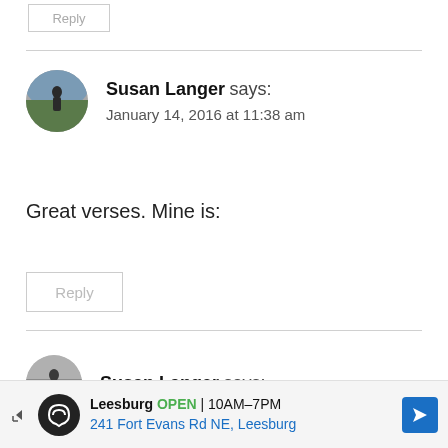Reply
Susan Langer says:
January 14, 2016 at 11:38 am
Great verses. Mine is:
Reply
Susan Langer says:
Leesburg OPEN 10AM–7PM
241 Fort Evans Rd NE, Leesburg